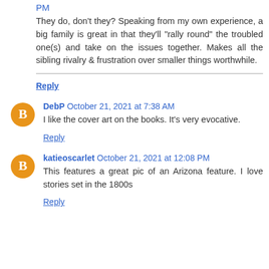PM
They do, don't they? Speaking from my own experience, a big family is great in that they'll "rally round" the troubled one(s) and take on the issues together. Makes all the sibling rivalry & frustration over smaller things worthwhile.
Reply
DebP October 21, 2021 at 7:38 AM
I like the cover art on the books. It's very evocative.
Reply
katieoscarlet October 21, 2021 at 12:08 PM
This features a great pic of an Arizona feature. I love stories set in the 1800s
Reply